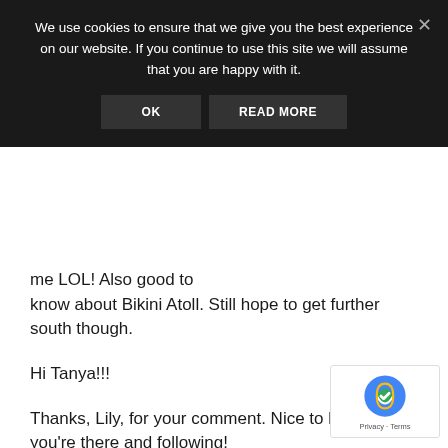We use cookies to ensure that we give you the best experience on our website. If you continue to use this site we will assume that you are happy with it.
me LOL! Also good to know about Bikini Atoll. Still hope to get further south though.
Hi Tanya!!!
Thanks, Lily, for your comment. Nice to know you're there and following!
Hi Jen. I can't wait to find out what you're plotting. Will row faster in anticipation...